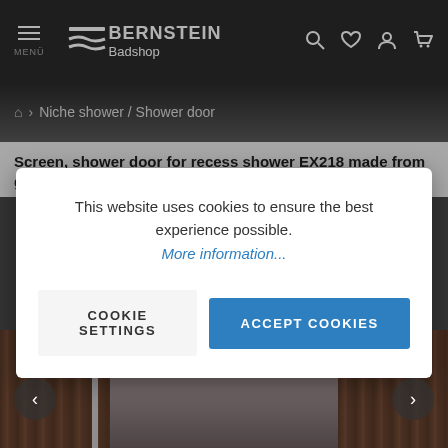[Figure (screenshot): Bernstein Badshop website header with navigation bar showing menu icon, logo with wave graphic and brand name 'BERNSTEIN Badshop', and icons for search, wishlist, account, and cart]
Niche shower / Shower door
Screen, shower door for recess shower EX218 made from genuine NANO glass, selectable width
This website uses cookies to ensure the best experience possible. More information...
COOKIE SETTINGS
ACCEPT COOKIES
[Figure (photo): Shower door product photo showing dark wood-paneled walls with glass shower door panels in center]